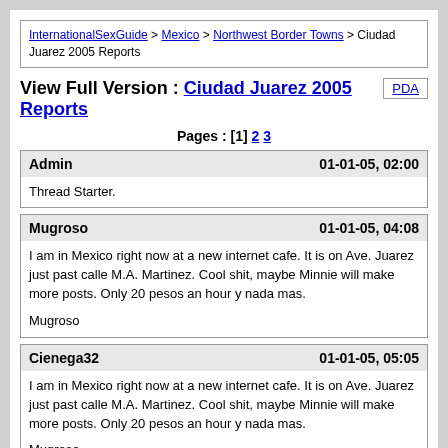InternationalSexGuide > Mexico > Northwest Border Towns > Ciudad Juarez 2005 Reports
View Full Version : Ciudad Juarez 2005 Reports
Pages : [1] 2 3
Admin   01-01-05, 02:00
Thread Starter.
Mugroso   01-01-05, 04:08
I am in Mexico right now at a new internet cafe. It is on Ave. Juarez just past calle M.A. Martinez. Cool shit, maybe Minnie will make more posts. Only 20 pesos an hour y nada mas.

Mugroso
Cienega32   01-01-05, 05:05
I am in Mexico right now at a new internet cafe. It is on Ave. Juarez just past calle M.A. Martinez. Cool shit, maybe Minnie will make more posts. Only 20 pesos an hour y nada mas.

Mugroso

Where exactly is it? I was told of one last trip but couldn't find it (late nite) and forgot about after that.

And Clydesdale - thank you. Tip your glass to the sky and enjoy it!